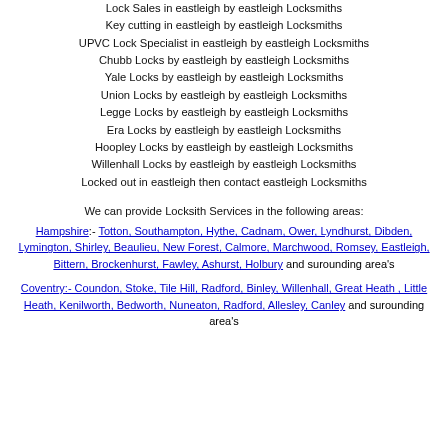Lock Sales in eastleigh by eastleigh Locksmiths
Key cutting in eastleigh by eastleigh Locksmiths
UPVC Lock Specialist in eastleigh by eastleigh Locksmiths
Chubb Locks by eastleigh by eastleigh Locksmiths
Yale Locks by eastleigh by eastleigh Locksmiths
Union Locks by eastleigh by eastleigh Locksmiths
Legge Locks by eastleigh by eastleigh Locksmiths
Era Locks by eastleigh by eastleigh Locksmiths
Hoopley Locks by eastleigh by eastleigh Locksmiths
Willenhall Locks by eastleigh by eastleigh Locksmiths
Locked out in eastleigh then contact eastleigh Locksmiths
We can provide Locksith Services in the following areas:
Hampshire:- Totton, Southampton, Hythe, Cadnam, Ower, Lyndhurst, Dibden, Lymington, Shirley, Beaulieu, New Forest, Calmore, Marchwood, Romsey, Eastleigh, Bittern, Brockenhurst, Fawley, Ashurst, Holbury and surounding area's
Coventry:- Coundon, Stoke, Tile Hill, Radford, Binley, Willenhall, Great Heath , Little Heath, Kenilworth, Bedworth, Nuneaton, Radford, Allesley, Canley and surounding area's